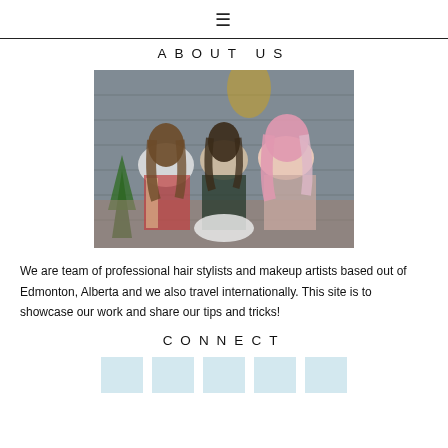≡
ABOUT US
[Figure (photo): Three women sitting together in front of a brick wall with Christmas tree and string lights in the background. One has long wavy brown hair, the center has dark hair, and the right has pink/blonde hair. They are dressed in cozy/boho style clothing.]
We are team of professional hair stylists and makeup artists based out of Edmonton, Alberta and we also travel internationally. This site is to showcase our work and share our tips and tricks!
CONNECT
[Figure (illustration): Row of five social media icon placeholder boxes in light blue color]